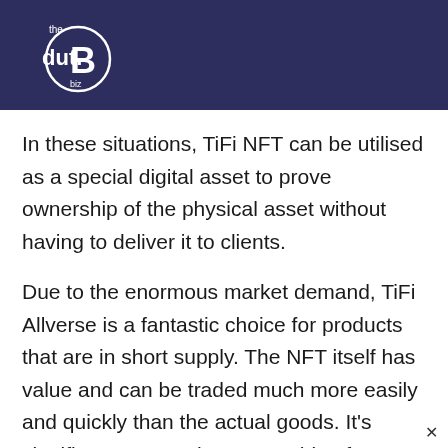[Figure (logo): the dut.B biz logo — white circle with bitcoin B symbol, text 'the dut.B biz' on dark navy background]
In these situations, TiFi NFT can be utilised as a special digital asset to prove ownership of the physical asset without having to deliver it to clients.
Due to the enormous market demand, TiFi Allverse is a fantastic choice for products that are in short supply. The NFT itself has value and can be traded much more easily and quickly than the actual goods. It’s significant to note that ownership of an NFT corresponds to ownership of the actual product. The reliability